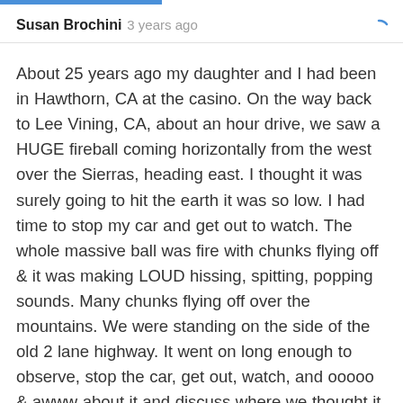Susan Brochini 3 years ago
About 25 years ago my daughter and I had been in Hawthorn, CA at the casino. On the way back to Lee Vining, CA, about an hour drive, we saw a HUGE fireball coming horizontally from the west over the Sierras, heading east. I thought it was surely going to hit the earth it was so low. I had time to stop my car and get out to watch. The whole massive ball was fire with chunks flying off & it was making LOUD hissing, spitting, popping sounds. Many chunks flying off over the mountains. We were standing on the side of the old 2 lane highway. It went on long enough to observe, stop the car, get out, watch, and ooooo & awww about it and discuss where we thought it would hit earth. We figured eastern Nevada. It was a huge. Serious, loud — enormous to...